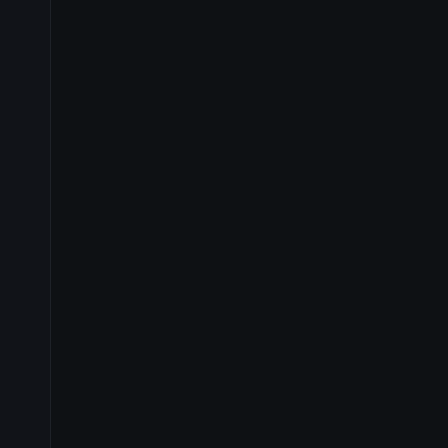at e a n y r i s k y o u m i g h t e n c o u n t